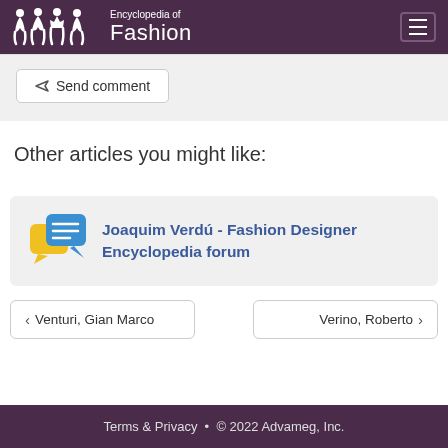Encyclopedia of Fashion
Send comment
Other articles you might like:
Joaquim Verdú - Fashion Designer Encyclopedia forum
< Venturi, Gian Marco
Verino, Roberto >
Terms & Privacy • © 2022 Advameg, Inc.